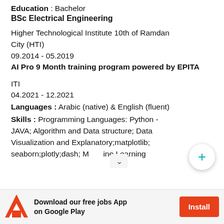Education : Bachelor
BSc Electrical Engineering
Higher Technological Institute 10th of Ramdan City (HTI)
09.2014 - 05.2019
AI Pro 9 Month training program powered by EPITA
ITI
04.2021 - 12.2021
Languages : Arabic (native) & English (fluent)
Skills : Programming Languages: Python - JAVA; Algorithm and Data structure; Data Visualization and Explanatory;matplotlib; seaborn;plotly;dash; Machine Learning
Download our free jobs App on Google Play